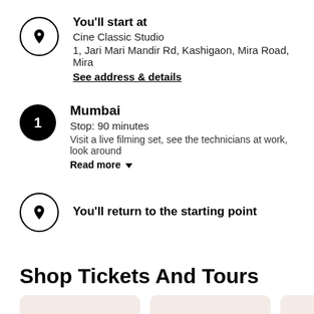You'll start at
Cine Classic Studio
1, Jari Mari Mandir Rd, Kashigaon, Mira Road, Mira
See address & details
Mumbai
Stop: 90 minutes
Visit a live filming set, see the technicians at work, look around
Read more
You'll return to the starting point
Shop Tickets And Tours